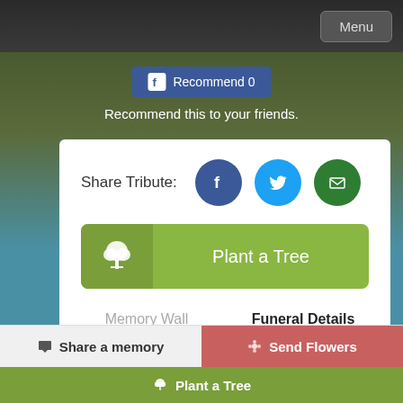Menu
[Figure (screenshot): Facebook Recommend button with count 0]
Recommend this to your friends.
Share Tribute:
[Figure (infographic): Plant a Tree button with tree icon]
Memory Wall
Funeral Details
Obituary
Share a memory
Send Flowers
Plant a Tree